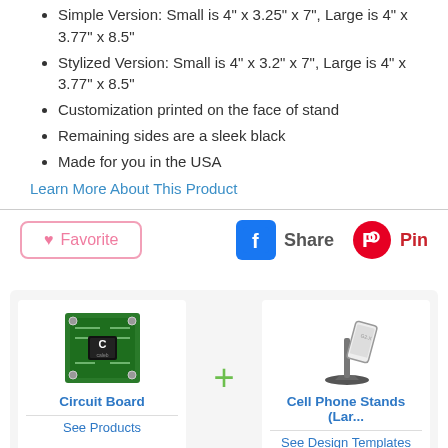Simple Version: Small is 4" x 3.25" x 7", Large is 4" x 3.77" x 8.5"
Stylized Version: Small is 4" x 3.2" x 7", Large is 4" x 3.77" x 8.5"
Customization printed on the face of stand
Remaining sides are a sleek black
Made for you in the USA
Learn More About This Product
[Figure (screenshot): Favorite button with heart icon, Facebook Share button, and Pinterest Pin button]
[Figure (screenshot): Product pairing section showing Circuit Board image plus Cell Phone Stands (Large) with See Products and See Design Templates links]